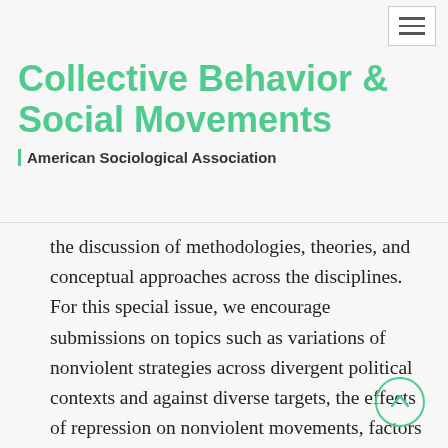Collective Behavior & Social Movements
American Sociological Association
the discussion of methodologies, theories, and conceptual approaches across the disciplines. For this special issue, we encourage submissions on topics such as variations of nonviolent strategies across divergent political contexts and against diverse targets, the effects of repression on nonviolent movements, factors shaping the outcome of civil resistance struggles, tactical choices and shifts between armed and